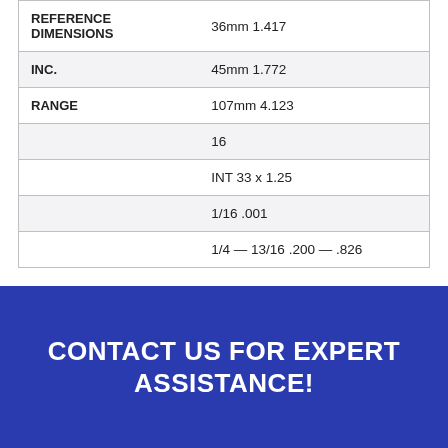| REFERENCE DIMENSIONS | 36mm 1.417 |
| INC. | 45mm 1.772 |
| RANGE | 107mm 4.123 |
|  | 16 |
|  | INT 33 x 1.25 |
|  | 1/16 .001 |
|  | 1/4 — 13/16 .200 — .826 |
CONTACT US FOR EXPERT ASSISTANCE!